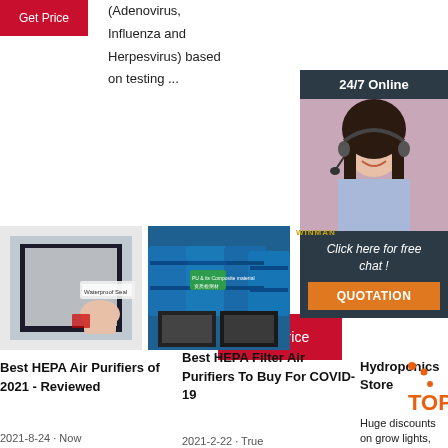[Figure (illustration): Red 'Get Price' button at top left]
(Adenovirus, Influenza and Herpesvirus) based on testing ...
[Figure (illustration): Red 'Get Price' button in center]
[Figure (photo): 24/7 Online chat support advertisement with woman wearing headset, 'Click here for free chat!' and QUOTATION button]
[Figure (photo): Photo of waterproof seal HEPA filter frame product]
[Figure (photo): Photo of blue industrial barrels/drums with Chinese text labels]
WINMAN
Best HEPA Air Purifiers of 2021 - Reviewed
2021-8-24 · Now
Best HEPA Filter Air Purifiers To Buy For COVID-19
2021-2-22 · True
Hydroponics Store
[Figure (logo): TOP logo with orange dots]
Huge discounts on grow lights,